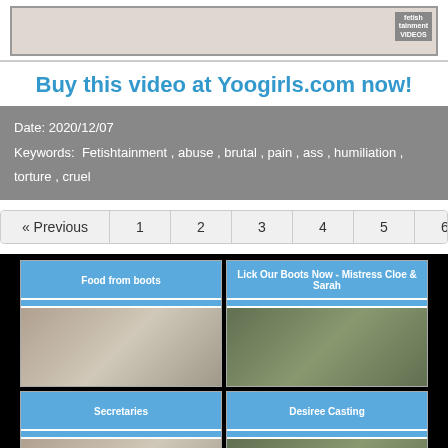[Figure (photo): Top cropped image banner with logo overlay]
Buy this video at Yoogirls.com now!
Date: 2020/12/07
Keywords: Fetishtainment , abuse , brutal , pain , ass , humiliation , torture , cruel
« Previous  1  2  3  4  5  6  7  8
[Figure (photo): Food from boots - thumbnail image]
[Figure (photo): Lick Our Boots Now - Mistress Cloe & Sarah - thumbnail image]
[Figure (photo): Secretaries - thumbnail image]
[Figure (photo): Desiree Casting - thumbnail image]